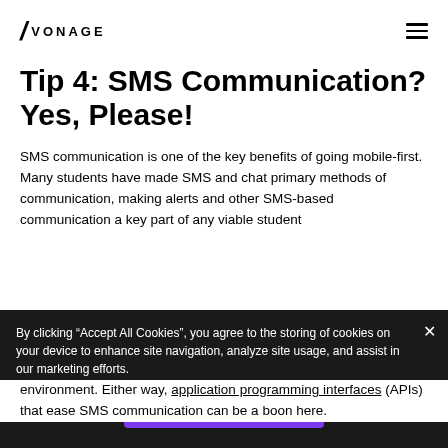VONAGE
Tip 4: SMS Communication? Yes, Please!
SMS communication is one of the key benefits of going mobile-first. Many students have made SMS and chat primary methods of communication, making alerts and other SMS-based communication a key part of any viable student environment. Either way, application programming interfaces (APIs) that ease SMS communication can be a boon here.
By clicking “Accept All Cookies”, you agree to the storing of cookies on your device to enhance site navigation, analyze site usage, and assist in our marketing efforts.